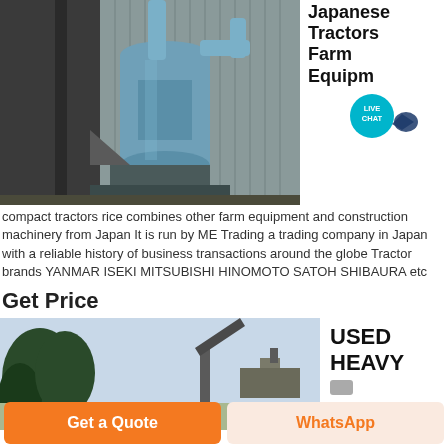[Figure (photo): Industrial machinery / mill equipment inside a factory building - large blue vertical mill/grinder with metal pipes and structural steel framework]
Japanese Tractors Farm Equipment
FARM YUUJI is a website for buying used Japanese compact tractors rice combines other farm equipment and construction machinery from Japan It is run by ME Trading a trading company in Japan with a reliable history of business transactions around the globe Tractor brands YANMAR ISEKI MITSUBISHI HINOMOTO SATOH SHIBAURA etc
Get Price
[Figure (photo): Outdoor scene with trees and heavy construction/farm equipment in background]
USED HEAVY
Get a Quote
WhatsApp